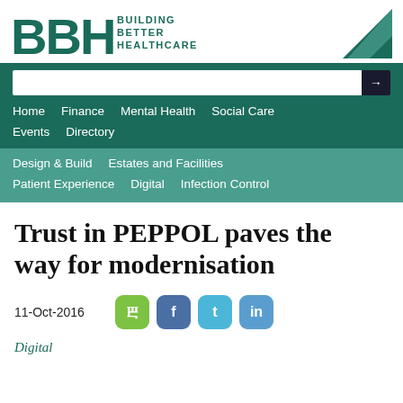[Figure (logo): BBH - Building Better Healthcare logo with teal letters and triangle graphic]
Home  Finance  Mental Health  Social Care  Events  Directory
Design & Build  Estates and Facilities  Patient Experience  Digital  Infection Control
Trust in PEPPOL paves the way for modernisation
11-Oct-2016
Digital